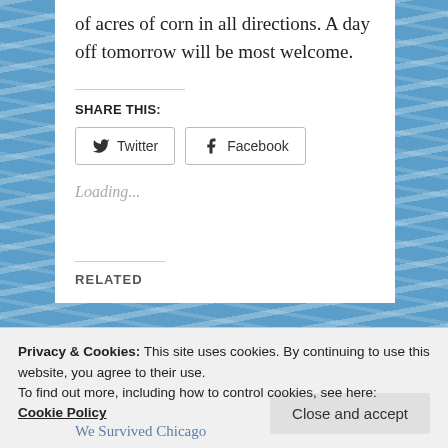of acres of corn in all directions. A day off tomorrow will be most welcome.
SHARE THIS:
Loading...
RELATED
Privacy & Cookies: This site uses cookies. By continuing to use this website, you agree to their use.
To find out more, including how to control cookies, see here: Cookie Policy
We Survived Chicago